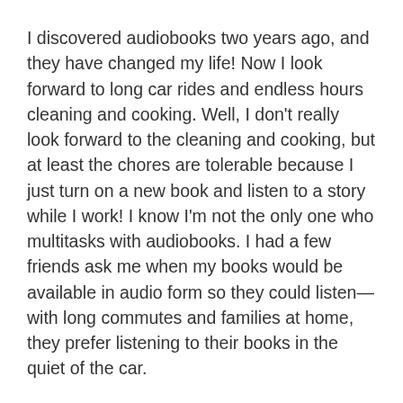I discovered audiobooks two years ago, and they have changed my life! Now I look forward to long car rides and endless hours cleaning and cooking. Well, I don't really look forward to the cleaning and cooking, but at least the chores are tolerable because I just turn on a new book and listen to a story while I work! I know I'm not the only one who multitasks with audiobooks. I had a few friends ask me when my books would be available in audio form so they could listen—with long commutes and families at home, they prefer listening to their books in the quiet of the car.
That's why I'm so excited to bring Summer Plans and Other Disasters to audiobook, and I'm just as excited about my narrator, Jasmine Zhwalen. Summer Plans was my first published book, and now it will be Jasmine's